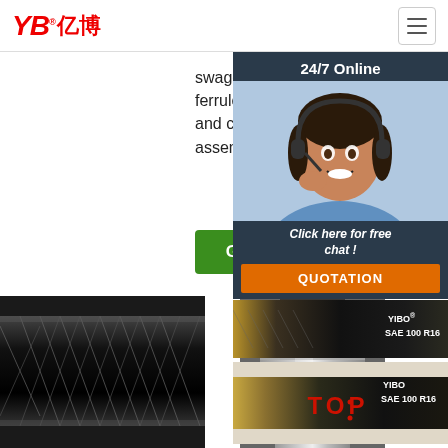[Figure (logo): YB亿博 logo in red with registered trademark symbol]
[Figure (illustration): Hamburger menu icon button]
swagers, crimpers, ferrules, hydraulic tubes and compression fittings, assemblies, testing ...
is suitable for both me... (Bri... pipe... 60º cou... con...
[Figure (other): Get Price green button]
[Figure (other): G... green button (partially visible)]
[Figure (photo): Close-up of black braided hydraulic hose exterior]
[Figure (photo): Metal ferrule/crimped fitting on hydraulic hose]
[Figure (infographic): 24/7 Online chat overlay with customer service representative photo, 'Click here for free chat!' text, and QUOTATION orange button]
[Figure (photo): YIBO SAE 100 R16 hydraulic hose thumbnail product image]
[Figure (photo): YIBO SAE 100 R16 hydraulic hose second thumbnail with TOP label]